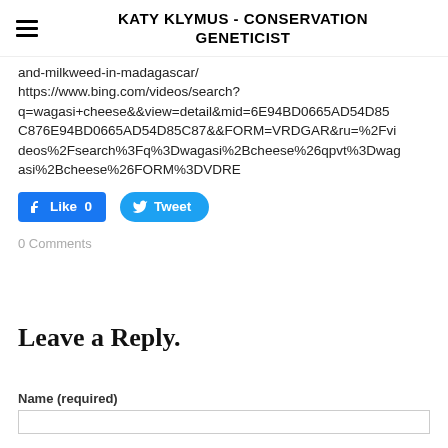KATY KLYMUS - CONSERVATION GENETICIST
and-milkweed-in-madagascar/
https://www.bing.com/videos/search?q=wagasi+cheese&&view=detail&mid=6E94BD0665AD54D85C876E94BD0665AD54D85C87&&FORM=VRDGAR&ru=%2Fvideos%2Fsearch%3Fq%3Dwagasi%2Bcheese%26qpvt%3Dwagasi%2Bcheese%26FORM%3DVDRE
[Figure (other): Facebook Like button showing 0 likes and Twitter Tweet button]
0 Comments
Leave a Reply.
Name (required)